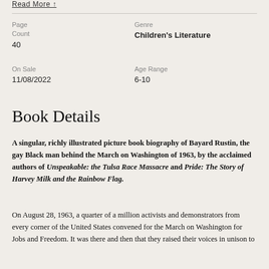Read More ↑
| Field | Value |
| --- | --- |
| Page Count | 40 |
| Genre | Children's Literature |
| On Sale | 11/08/2022 |
| Age Range | 6-10 |
Book Details
A singular, richly illustrated picture book biography of Bayard Rustin, the gay Black man behind the March on Washington of 1963, by the acclaimed authors of Unspeakable: the Tulsa Race Massacre and Pride: The Story of Harvey Milk and the Rainbow Flag.
On August 28, 1963, a quarter of a million activists and demonstrators from every corner of the United States convened for the March on Washington for Jobs and Freedom. It was there and then that they raised their voices in unison to